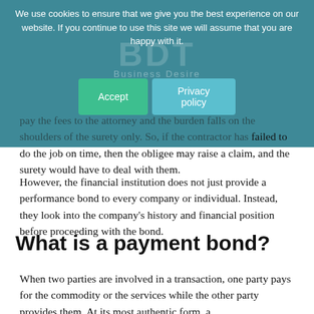We use cookies to ensure that we give you the best experience on our website. If you continue to use this site we will assume that you are happy with it.
pay the fees to the attorney and the burden falls on the shoulders of the surety only. So, if the contractor has failed to do the job on time, then the obligee may raise a claim, and the surety would have to deal with them.
However, the financial institution does not just provide a performance bond to every company or individual. Instead, they look into the company's history and financial position before proceeding with the bond.
What is a payment bond?
When two parties are involved in a transaction, one party pays for the commodity or the services while the other party provides them. At its most authentic form, a